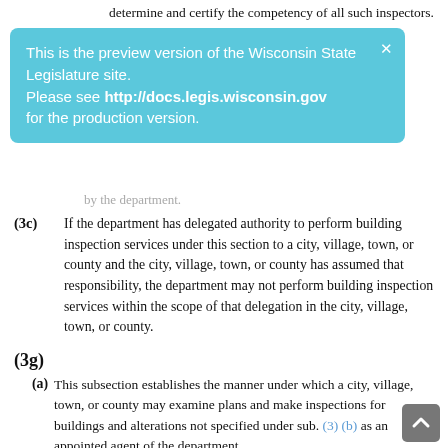determine and certify the competency of all such inspectors.
[Figure (screenshot): Blue banner overlay: 'This is the preview version of the Wisconsin State Legislature site. Please see http://docs.legis.wisconsin.gov for the production version.' with a close X button.]
by the department.
(3c) If the department has delegated authority to perform building inspection services under this section to a city, village, town, or county and the city, village, town, or county has assumed that responsibility, the department may not perform building inspection services within the scope of that delegation in the city, village, town, or county.
(3g)
(a) This subsection establishes the manner under which a city, village, town, or county may examine plans and make inspections for buildings and alterations not specified under sub. (3) (b) as an appointed agent of the department.
(b) Before assuming any of the department's plan examination or inspection responsibilities for buildings and alterations not specified in sub. (3) (b), a city, village, town, or county shall comply with all of the following:
1. Submit a written request to the department at least 30 days prior to the date upon which the city, village, town, or county desires to assume agent responsibilities for plan